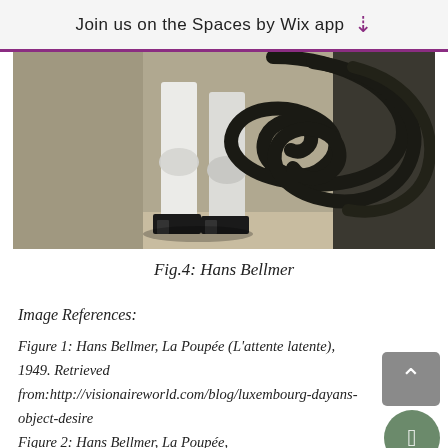Join us on the Spaces by Wix app
[Figure (photo): Photograph of mannequin legs in white stockings and black shoes, with a large dark rope sculpture in the background, attributed to Hans Bellmer.]
Fig.4: Hans Bellmer
Image References:
Figure 1: Hans Bellmer, La Poupée (L'attente latente), 1949. Retrieved from:http://visionaireworld.com/blog/luxembourg-dayans-object-desire
Figure 2: Hans Bellmer, La Poupée,